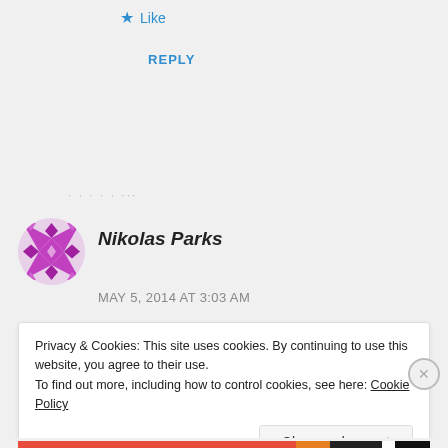★ Like
REPLY
· · · ···
[Figure (logo): Purple/magenta geometric quilt-pattern avatar icon for user Nikolas Parks]
Nikolas Parks
MAY 5, 2014 AT 3:03 AM
Privacy & Cookies: This site uses cookies. By continuing to use this website, you agree to their use.
To find out more, including how to control cookies, see here: Cookie Policy
Close and accept